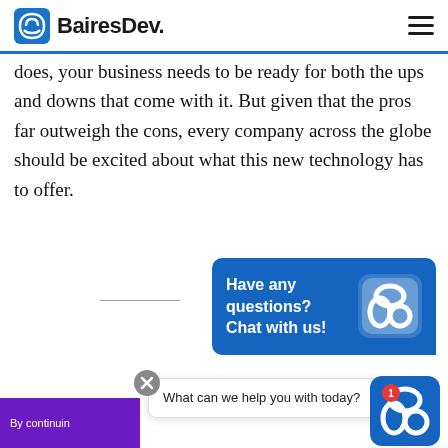BairesDev
does, your business needs to be ready for both the ups and downs that come with it. But given that the pros far outweigh the cons, every company across the globe should be excited about what this new technology has to offer.
[Figure (screenshot): BairesDev chat widget popup with blue background showing 'Have any questions? Chat with us!' with BairesDev logo icon]
What can we help you with today?
By continuin